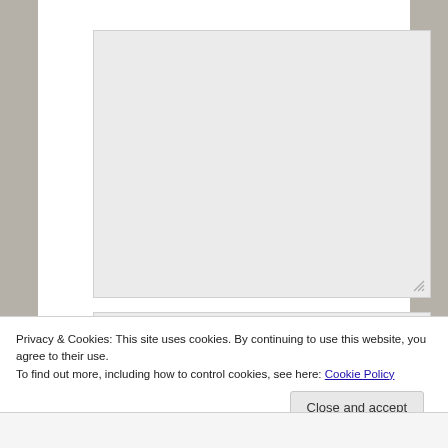[Figure (screenshot): Large empty text input area (textarea) with a resize handle in the bottom-right corner, rendered as a light grey box]
[Figure (screenshot): Partial second input field with a grey circle icon, rendered as a light grey box]
Privacy & Cookies: This site uses cookies. By continuing to use this website, you agree to their use.
To find out more, including how to control cookies, see here: Cookie Policy
Close and accept